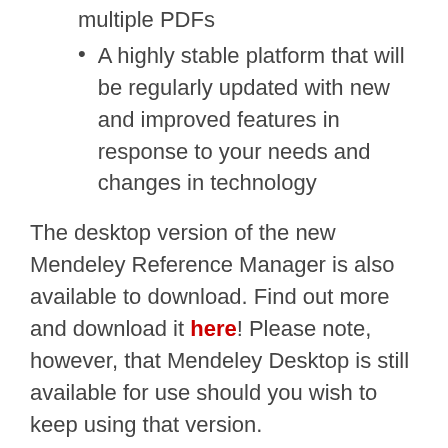multiple PDFs
A highly stable platform that will be regularly updated with new and improved features in response to your needs and changes in technology
The desktop version of the new Mendeley Reference Manager is also available to download. Find out more and download it here! Please note, however, that Mendeley Desktop is still available for use should you wish to keep using that version.
We're thrilled to bring you this new and improved reference management solution. Remember to sign in and check out your library's new home.
For any questions about this migration and the new Mendeley Reference Manager, visit the Mendeley